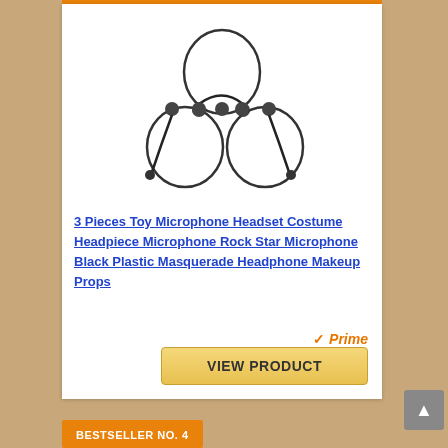[Figure (illustration): Three toy microphone headsets arranged in a triangular cluster, showing circular headband rings with small black ball-end microphone arms and connecting wire cables]
3 Pieces Toy Microphone Headset Costume Headpiece Microphone Rock Star Microphone Black Plastic Masquerade Headphone Makeup Props
VIEW PRODUCT
BESTSELLER NO. 4